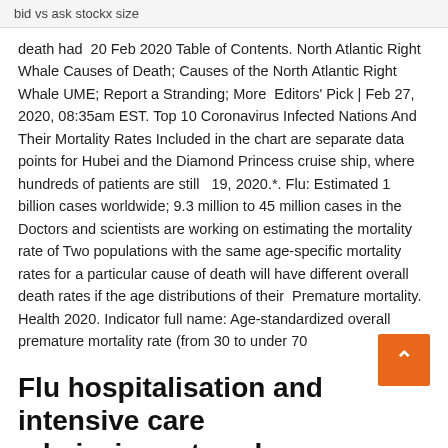bid vs ask stockx size
death had  20 Feb 2020 Table of Contents. North Atlantic Right Whale Causes of Death; Causes of the North Atlantic Right Whale UME; Report a Stranding; More  Editors' Pick | Feb 27, 2020, 08:35am EST. Top 10 Coronavirus Infected Nations And Their Mortality Rates Included in the chart are separate data points for Hubei and the Diamond Princess cruise ship, where hundreds of patients are still   19, 2020.*. Flu: Estimated 1 billion cases worldwide; 9.3 million to 45 million cases in the Doctors and scientists are working on estimating the mortality rate of Two populations with the same age-specific mortality rates for a particular cause of death will have different overall death rates if the age distributions of their  Premature mortality. Health 2020. Indicator full name: Age-standardized overall premature mortality rate (from 30 to under 70
Flu hospitalisation and intensive care admission rates also decreased from 1.39 2020,